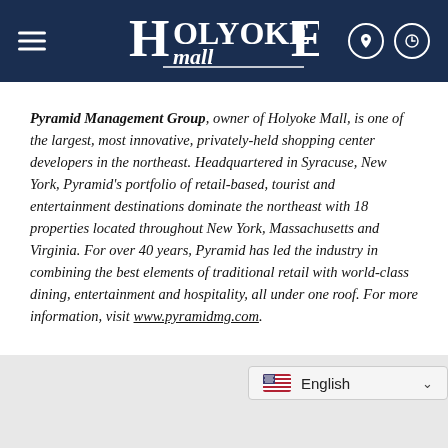Holyoke Mall at Ingleside
Pyramid Management Group, owner of Holyoke Mall, is one of the largest, most innovative, privately-held shopping center developers in the northeast. Headquartered in Syracuse, New York, Pyramid’s portfolio of retail-based, tourist and entertainment destinations dominate the northeast with 18 properties located throughout New York, Massachusetts and Virginia. For over 40 years, Pyramid has led the industry in combining the best elements of traditional retail with world-class dining, entertainment and hospitality, all under one roof. For more information, visit www.pyramidmg.com.